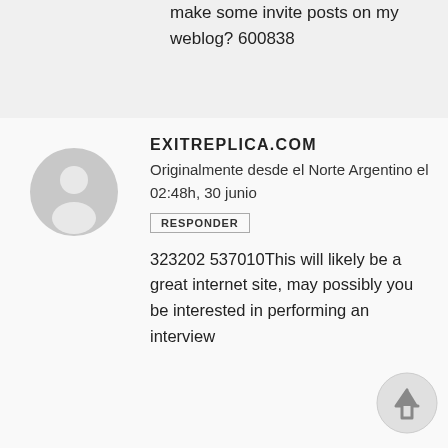make some invite posts on my weblog? 600838
EXITREPLICA.COM
Originalmente desde el Norte Argentino el 02:48h, 30 junio
RESPONDER
323202 537010This will likely be a great internet site, may possibly you be interested in performing an interview
[Figure (illustration): Generic user avatar — grey circle with white silhouette of a person]
[Figure (illustration): Scroll-to-top circular button with upward arrow]